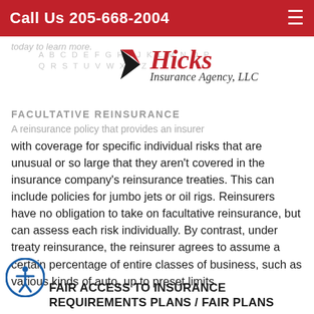Call Us 205-668-2004
today to learn more.
[Figure (logo): Hicks Insurance Agency, LLC logo with red star and italic serif text]
FACULTATIVE REINSURANCE
A reinsurance policy that provides an insurer with coverage for specific individual risks that are unusual or so large that they aren't covered in the insurance company's reinsurance treaties. This can include policies for jumbo jets or oil rigs. Reinsurers have no obligation to take on facultative reinsurance, but can assess each risk individually. By contrast, under treaty reinsurance, the reinsurer agrees to assume a certain percentage of entire classes of business, such as various kinds of auto, up to preset limits.
FAIR ACCESS TO INSURANCE REQUIREMENTS PLANS / FAIR PLANS